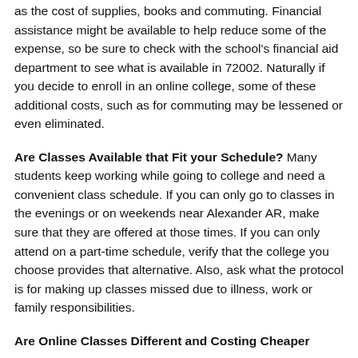as the cost of supplies, books and commuting. Financial assistance might be available to help reduce some of the expense, so be sure to check with the school's financial aid department to see what is available in 72002. Naturally if you decide to enroll in an online college, some of these additional costs, such as for commuting may be lessened or even eliminated.
Are Classes Available that Fit your Schedule? Many students keep working while going to college and need a convenient class schedule. If you can only go to classes in the evenings or on weekends near Alexander AR, make sure that they are offered at those times. If you can only attend on a part-time schedule, verify that the college you choose provides that alternative. Also, ask what the protocol is for making up classes missed due to illness, work or family responsibilities.
Are Online Classes Different and Costing Cheaper...